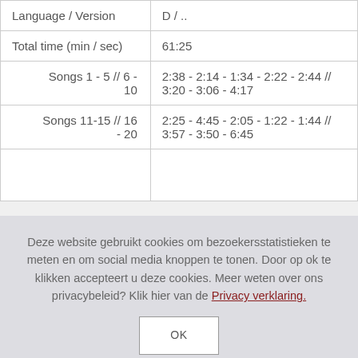|  |  |
| --- | --- |
| Language / Version | D / .. |
| Total time (min / sec) | 61:25 |
| Songs 1 - 5 // 6 - 10 | 2:38 - 2:14 - 1:34 - 2:22 - 2:44 // 3:20 - 3:06 - 4:17 |
| Songs 11-15 // 16 - 20 | 2:25 - 4:45 - 2:05 - 1:22 - 1:44 // 3:57 - 3:50 - 6:45 |
|  |  |
Deze website gebruikt cookies om bezoekersstatistieken te meten en om social media knoppen te tonen. Door op ok te klikken accepteert u deze cookies. Meer weten over ons privacybeleid? Klik hier van de Privacy verklaring.